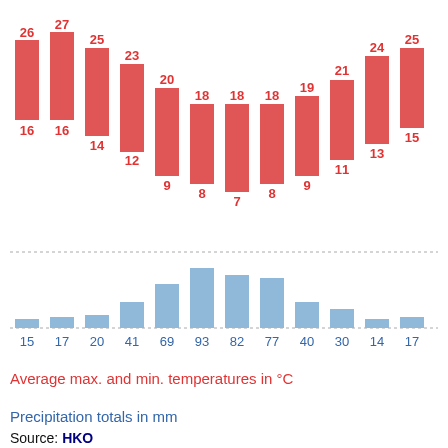[Figure (bar-chart): Average max. and min. temperatures in °C]
[Figure (bar-chart): Precipitation totals in mm]
Average max. and min. temperatures in °C
Precipitation totals in mm
Source: HKO
Imperial conversion
J  F  M  A  M  J  J  A  S  O  N  D
79  80  78  ...  76  77